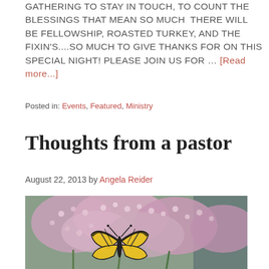GATHERING TO STAY IN TOUCH, TO COUNT THE BLESSINGS THAT MEAN SO MUCH  THERE WILL BE FELLOWSHIP, ROASTED TURKEY, AND THE FIXIN'S....SO MUCH TO GIVE THANKS FOR ON THIS SPECIAL NIGHT! PLEASE JOIN US FOR … [Read more...]
Posted in: Events, Featured, Ministry
Thoughts from a pastor
August 22, 2013 by Angela Reider
[Figure (photo): A photograph of pink/mauve flowers (likely joe-pye weed or similar) with a yellow and black monarch or tiger swallowtail butterfly feeding on the blooms. Background shows greenery and what appears to be a building structure.]